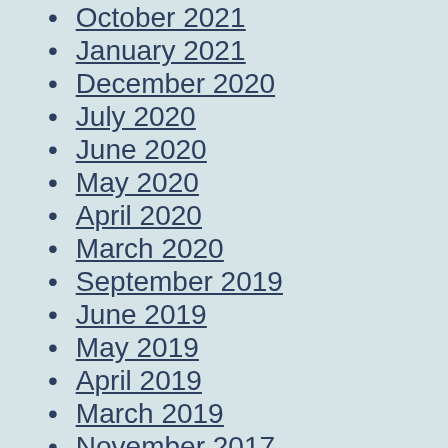October 2021
January 2021
December 2020
July 2020
June 2020
May 2020
April 2020
March 2020
September 2019
June 2019
May 2019
April 2019
March 2019
November 2017